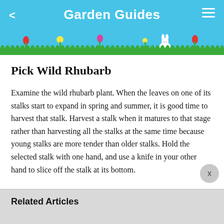Garden Guides
[Figure (illustration): Garden Guides app header banner with sky blue background, colorful flowers (red tulip, yellow flowers, pink flower), green grass silhouette at bottom, and a white rabbit/bunny icon. Left arrow chevron and hamburger menu icon on either side of the title.]
Pick Wild Rhubarb
Examine the wild rhubarb plant. When the leaves on one of its stalks start to expand in spring and summer, it is good time to harvest that stalk. Harvest a stalk when it matures to that stage rather than harvesting all the stalks at the same time because young stalks are more tender than older stalks. Hold the selected stalk with one hand, and use a knife in your other hand to slice off the stalk at its bottom.
Related Articles